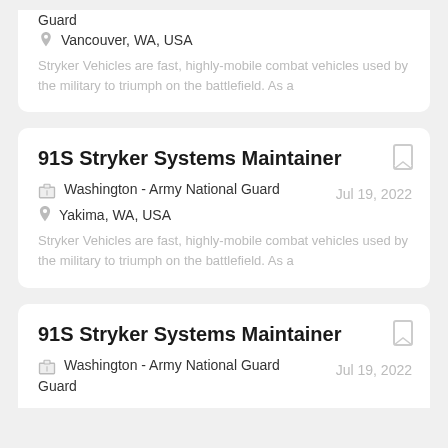Guard
Vancouver, WA, USA
Stryker Vehicles are fast, highly-mobile combat vehicles used by the military to triumph on the battlefield. As a
91S Stryker Systems Maintainer
Washington - Army National Guard
Jul 19, 2022
Yakima, WA, USA
Stryker Vehicles are fast, highly-mobile combat vehicles used by the military to triumph on the battlefield. As a
91S Stryker Systems Maintainer
Washington - Army National Guard
Jul 19, 2022
Guard